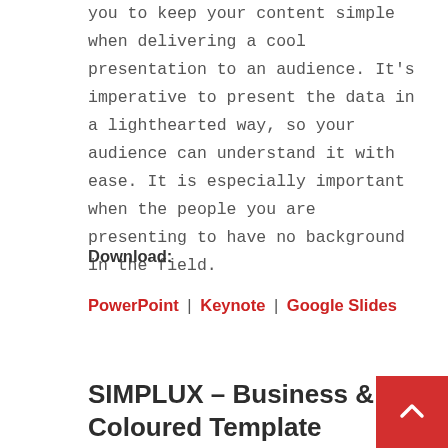you to keep your content simple when delivering a cool presentation to an audience. It's imperative to present the data in a lighthearted way, so your audience can understand it with ease. It is especially important when the people you are presenting to have no background in the field.
Download:
PowerPoint | Keynote | Google Slides
SIMPLUX – Business & Coloured Template